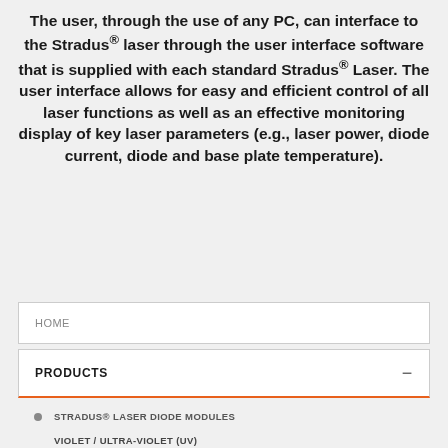The user, through the use of any PC, can interface to the Stradus® laser through the user interface software that is supplied with each standard Stradus® Laser. The user interface allows for easy and efficient control of all laser functions as well as an effective monitoring display of key laser parameters (e.g., laser power, diode current, diode and base plate temperature).
HOME
PRODUCTS
STRADUS® LASER DIODE MODULES
VIOLET / ULTRA-VIOLET (UV)
BLUE
ORANGE / YELLOW / GREEN
RED
IR